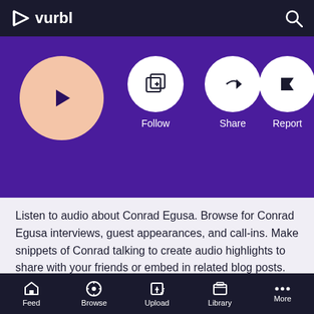vurbl
[Figure (screenshot): Purple banner with play button (peach circle), Follow, Share, Report action buttons on purple background]
Listen to audio about Conrad Egusa. Browse for Conrad Egusa interviews, guest appearances, and call-ins. Make snippets of Conrad talking to create audio highlights to share with your friends or embed in related blog posts. Continue Reading >>
Interviews
Guests
Call-Ins
Feed  Browse  Upload  Library  More